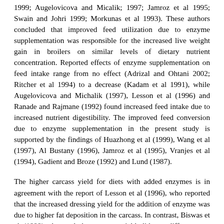1999; Augelovicova and Micalik; 1997; Jamroz et al 1995; Swain and Johri 1999; Morkunas et al 1993). These authors concluded that improved feed utilization due to enzyme supplementation was responsible for the increased live weight gain in broilers on similar levels of dietary nutrient concentration. Reported effects of enzyme supplementation on feed intake range from no effect (Adrizal and Ohtani 2002; Ritcher et al 1994) to a decrease (Kadam et al 1991), while Augelovicova and Michalik (1997), Lesson et al (1996) and Ranade and Rajmane (1992) found increased feed intake due to increased nutrient digestibility. The improved feed conversion due to enzyme supplementation in the present study is supported by the findings of Huazhong et al (1999), Wang et al (1997), Al Bustany (1996), Jamroz et al (1995), Vranjes et al (1994), Gadient and Broze (1992) and Lund (1987).
The higher carcass yield for diets with added enzymes is in agreement with the report of Lesson et al (1996), who reported that the increased dressing yield for the addition of enzyme was due to higher fat deposition in the carcass. In contrast, Biswas et al (1999) observed that carcass yield did not differ among different enzymatic dietary groups.
Cost and profit analysis